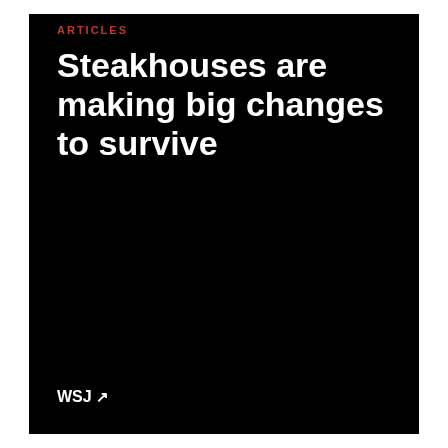ARTICLES
Steakhouses are making big changes to survive
WSJ ↗